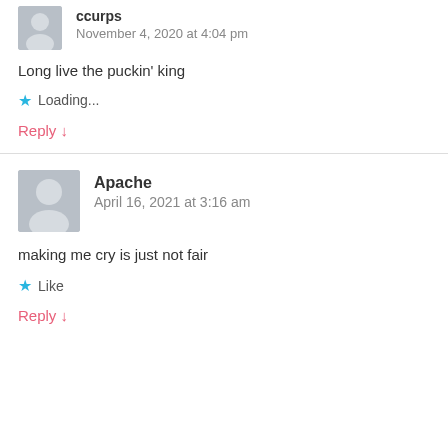ccurps
November 4, 2020 at 4:04 pm
Long live the puckin' king
Loading...
Reply ↓
Apache
April 16, 2021 at 3:16 am
making me cry is just not fair
Like
Reply ↓